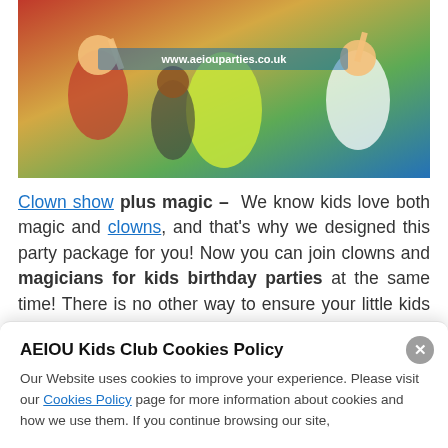[Figure (photo): Children at a party with a clown in yellow-green checkered outfit, kids raising hands, URL www.aeiouparties.co.uk visible]
Clown show plus magic – We know kids love both magic and clowns, and that's why we designed this party package for you! Now you can join clowns and magicians for kids birthday parties at the same time! There is no other way to ensure your little kids will have lots of fun and laughs!
Gymkhana plus professional magic – You
AEIOU Kids Club Cookies Policy
Our Website uses cookies to improve your experience. Please visit our Cookies Policy page for more information about cookies and how we use them. If you continue browsing our site,